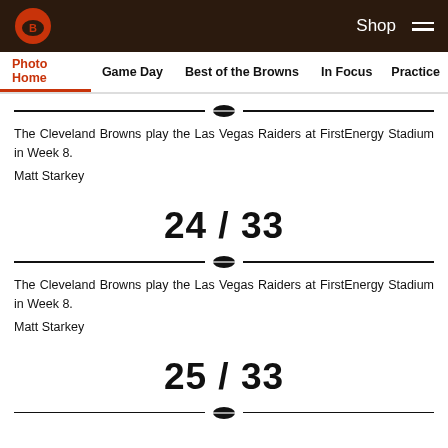Cleveland Browns — Photo Home | Game Day | Best of the Browns | In Focus | Practice | Shop
The Cleveland Browns play the Las Vegas Raiders at FirstEnergy Stadium in Week 8.
Matt Starkey
24 / 33
The Cleveland Browns play the Las Vegas Raiders at FirstEnergy Stadium in Week 8.
Matt Starkey
25 / 33